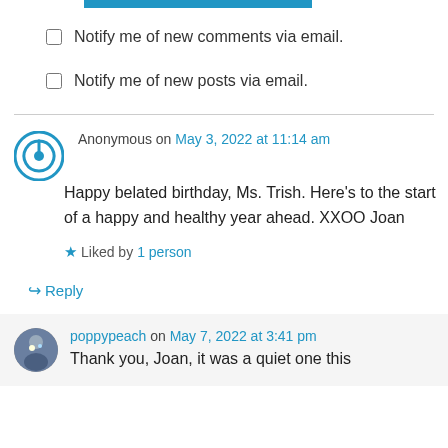[Figure (other): Blue submit button top bar]
Notify me of new comments via email.
Notify me of new posts via email.
Anonymous on May 3, 2022 at 11:14 am
Happy belated birthday, Ms. Trish. Here’s to the start of a happy and healthy year ahead. XXOO Joan
★ Liked by 1 person
↪ Reply
poppypeach on May 7, 2022 at 3:41 pm
Thank you, Joan, it was a quiet one this